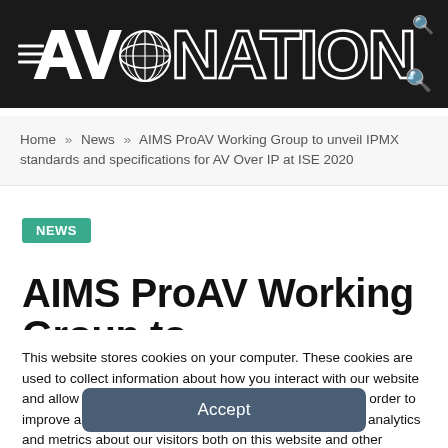AVNation
Home » News » AIMS ProAV Working Group to unveil IPMX standards and specifications for AV Over IP at ISE 2020
NEWS
AIMS ProAV Working Group to
This website stores cookies on your computer. These cookies are used to collect information about how you interact with our website and allow us to remember you. We use this information in order to improve and customize your browsing experience and for analytics and metrics about our visitors both on this website and other media. To find out more about the cookies we use, see our Privacy Policy.
Accept